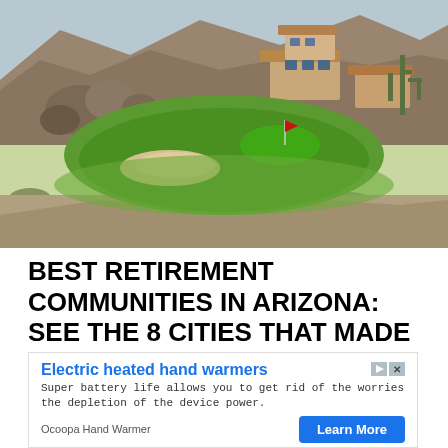[Figure (photo): Aerial/elevated view of a desert golf course community in Arizona, showing green fairways, sand bunkers, desert landscaping with rocks and scrub brush, and luxury homes built into rocky hillside in the background.]
BEST RETIREMENT COMMUNITIES IN ARIZONA: SEE THE 8 CITIES THAT MADE
[Figure (other): Advertisement for Ocoopa Hand Warmer. Headline: 'Electric heated hand warmers'. Body: 'Super battery life allows you to get rid of the worries the depletion of the device power.' Brand: 'Ocoopa Hand Warmer'. Button: 'Learn More']